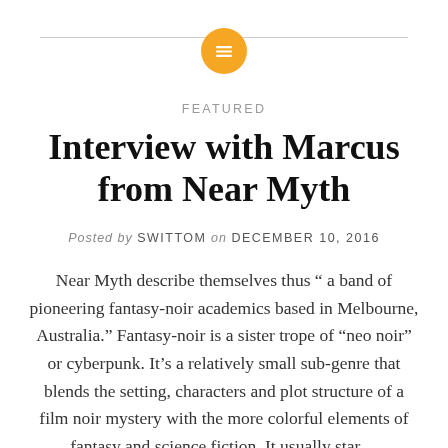[Figure (logo): Golden yellow circle icon with white horizontal lines (menu/list icon) centered on the page header, with a thin horizontal gray line behind it]
FEATURED
Interview with Marcus from Near Myth
Posted by SWITTOM on DECEMBER 10, 2016
Near Myth describe themselves thus “ a band of pioneering fantasy-noir academics based in Melbourne, Australia.” Fantasy-noir is a sister trope of “neo noir” or cyberpunk. It’s a relatively small sub-genre that blends the setting, characters and plot structure of a film noir mystery with the more colorful elements of fantasy and science fiction. It usually star…